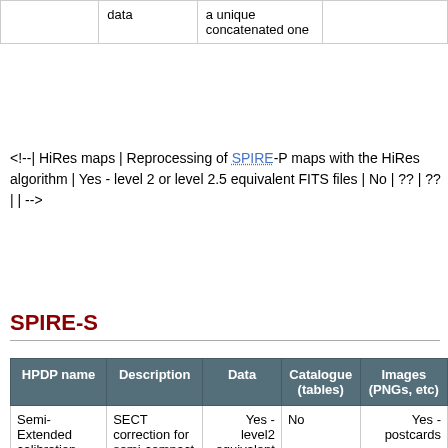| data |  | a unique concatenated one |  |
<!--| HiRes maps | Reprocessing of SPIRE-P maps with the HiRes algorithm | Yes - level 2 or level 2.5 equivalent FITS files | No | ?? | ?? | | -->
SPIRE-S
| HPDP name | Description | Data | Catalogue (tables) | Images (PNGs, etc) |
| --- | --- | --- | --- | --- |
| Semi-Extended calibration correction | SECT correction for semi-compact sources | Yes - level2 equivalent FITS files | No | Yes - postcards |
| Extended background correction | Extended background correction for point | Yes - level2 equivalent FITS files | No | Yes - postcards |